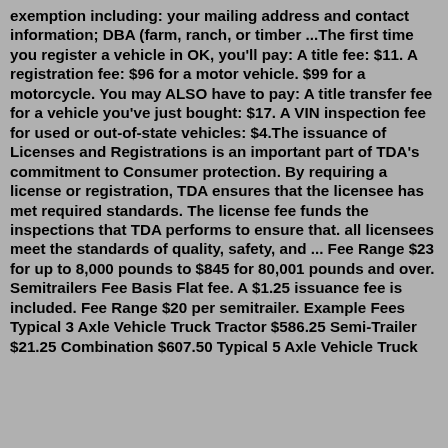exemption including: your mailing address and contact information; DBA (farm, ranch, or timber ...The first time you register a vehicle in OK, you'll pay: A title fee: $11. A registration fee: $96 for a motor vehicle. $99 for a motorcycle. You may ALSO have to pay: A title transfer fee for a vehicle you've just bought: $17. A VIN inspection fee for used or out-of-state vehicles: $4.The issuance of Licenses and Registrations is an important part of TDA's commitment to Consumer protection. By requiring a license or registration, TDA ensures that the licensee has met required standards. The license fee funds the inspections that TDA performs to ensure that. all licensees meet the standards of quality, safety, and ... Fee Range $23 for up to 8,000 pounds to $845 for 80,001 pounds and over. Semitrailers Fee Basis Flat fee. A $1.25 issuance fee is included. Fee Range $20 per semitrailer. Example Fees Typical 3 Axle Vehicle Truck Tractor $586.25 Semi-Trailer $21.25 Combination $607.50 Typical 5 Axle Vehicle Truck Tractor $751.25 Semi-Trailer $21.25 Combination $772.50